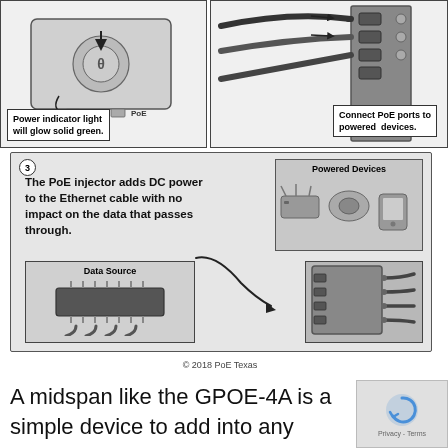[Figure (illustration): Diagram showing a PoE injector device with arrow indicating power indicator light. Callout box reads: Power indicator light will glow solid green.]
[Figure (illustration): Diagram showing cables being connected to PoE ports on a device. Callout box reads: Connect PoE ports to powered devices.]
[Figure (schematic): Step 3 diagram: The PoE injector adds DC power to the Ethernet cable with no impact on the data that passes through. Shows Powered Devices box (router, camera, phone), a Data Source box (chip/switch), and a PoE injector box. Curved arrow connects data source to powered devices through PoE injector.]
© 2018 PoE Texas
A midspan like the GPOE-4A is a simple device to add into any network, and the purpose is to add or increase the PoE of your